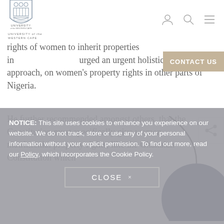[Figure (logo): University of the Western Cape shield logo with text UNIVERSITY of the WESTERN CAPE]
[Figure (other): Navigation icons: person/account icon, search icon, hamburger menu icon]
rights of women to inherit properties in urged an urgent holistic judicial approach, on women's property rights in other parts of Nigeria.
[Figure (other): CONTACT US button in tan/beige color]
He further recommended amongst others, that the Constitution must specifically give women matrimonial property rights, like the Ghanaian Constitution which
[Figure (other): Share icon button]
[Figure (other): Decorative arc and dark navy blue circle]
NOTICE: This site uses cookies to enhance you experience on our website. We do not track, store or use any of your personal information without your explicit permission. To find out more, read our Policy, which incorporates the Cookie Policy.
CLOSE ×